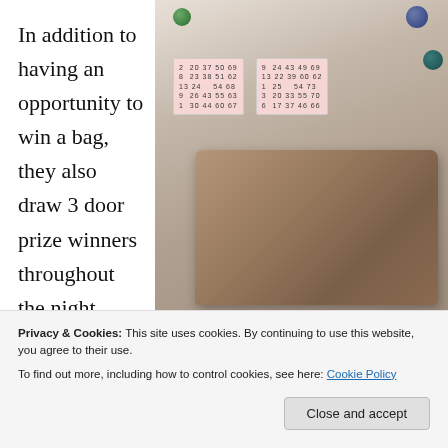In addition to having an opportunity to win a bag, they also draw 3 door prize winners throughout the night.
[Figure (photo): Photo of a bingo night setup: two pink bingo cards with numbers, a green dauber bottle, bingo balls (green, teal, purple), a wine glass, and a brown Coach wristlet purse on a white table]
Privacy & Cookies: This site uses cookies. By continuing to use this website, you agree to their use.
To find out more, including how to control cookies, see here: Cookie Policy
Close and accept